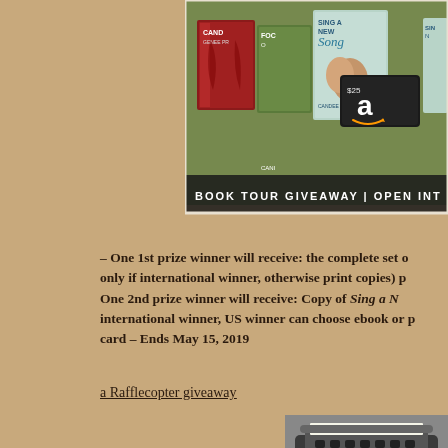[Figure (photo): Book tour giveaway banner showing multiple book covers by Candee Fick including 'Sing a New Song', a $25 Amazon gift card, and text 'BOOK TOUR GIVEAWAY | OPEN INT']
– One 1st prize winner will receive: the complete set of only if international winner, otherwise print copies) pl One 2nd prize winner will receive: Copy of Sing a N international winner, US winner can choose ebook or p card – Ends May 15, 2019
a Rafflecopter giveaway
[Figure (photo): Black and white photo of a vintage typewriter]